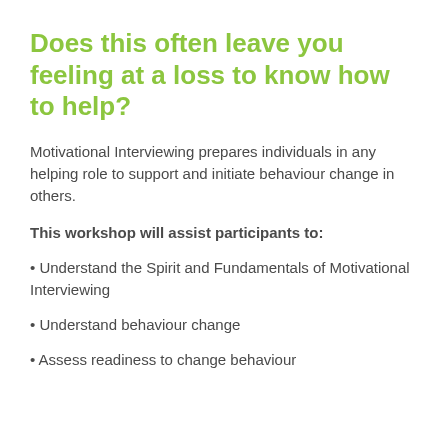Does this often leave you feeling at a loss to know how to help?
Motivational Interviewing prepares individuals in any helping role to support and initiate behaviour change in others.
This workshop will assist participants to:
Understand the Spirit and Fundamentals of Motivational Interviewing
Understand behaviour change
Assess readiness to change behaviour